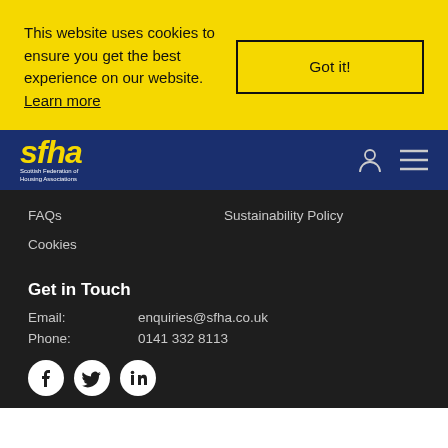This website uses cookies to ensure you get the best experience on our website. Learn more
Got it!
[Figure (logo): SFHA - Scottish Federation of Housing Associations logo in yellow italic on dark blue background]
FAQs
Sustainability Policy
Cookies
Get in Touch
Email:      enquiries@sfha.co.uk
Phone:     0141 332 8113
[Figure (illustration): Social media icons: Facebook, Twitter, LinkedIn in white on dark background]